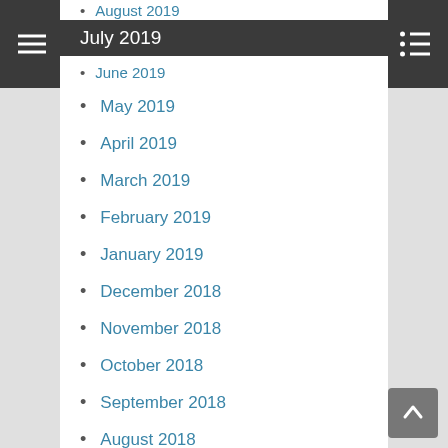Navigation bar with hamburger menu and list icon
August 2019
July 2019
June 2019
May 2019
April 2019
March 2019
February 2019
January 2019
December 2018
November 2018
October 2018
September 2018
August 2018
July 2018
June 2018
May 2018
April 2018
March 2018
February 2018
January 2018
December 2017